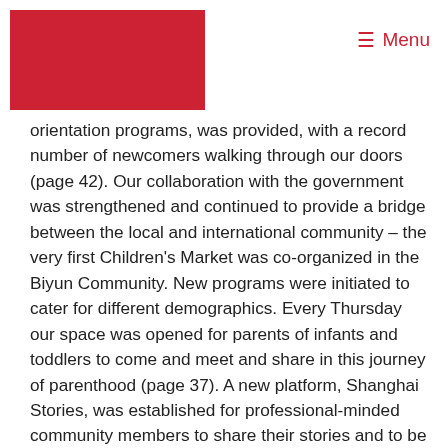≡ Menu
[Figure (other): Red rectangular logo/banner block in the top left corner of the page header]
orientation programs, was provided, with a record number of newcomers walking through our doors (page 42). Our collaboration with the government was strengthened and continued to provide a bridge between the local and international community – the very first Children's Market was co-organized in the Biyun Community. New programs were initiated to cater for different demographics. Every Thursday our space was opened for parents of infants and toddlers to come and meet and share in this journey of parenthood (page 37). A new platform, Shanghai Stories, was established for professional-minded community members to share their stories and to be inspired to be more and do more during their time here in Shanghai (page 38). In autumn, the year culminated in our annual gala where we celebrated and embraced the joy and energy